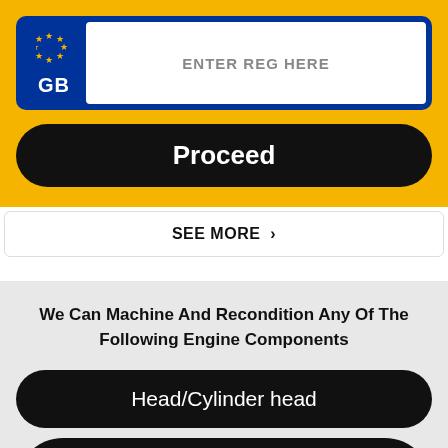[Figure (other): UK GB licence plate input field with blue left panel showing EU stars and GB text, white input area showing ENTER REG HERE]
Proceed
SEE MORE >
We Can Machine And Recondition Any Of The Following Engine Components
Head/Cylinder head
Crankshaft